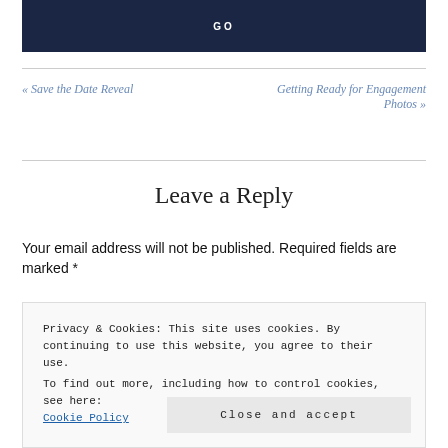GO
« Save the Date Reveal
Getting Ready for Engagement Photos »
Leave a Reply
Your email address will not be published. Required fields are marked *
Privacy & Cookies: This site uses cookies. By continuing to use this website, you agree to their use.
To find out more, including how to control cookies, see here: Cookie Policy
Close and accept